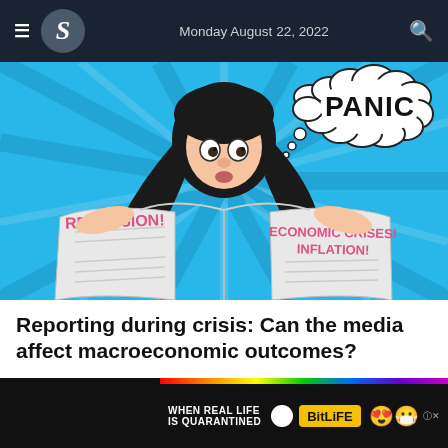Monday August 22, 2022
[Figure (illustration): Comic-style illustration of a woman with dark hair reading a newspaper with headlines 'RECESSION!' and 'ECONOMIC CRISES! INFLATION!' with a thought bubble saying 'PANIC' on a blue sunburst background]
Reporting during crisis: Can the media affect macroeconomic outcomes?
4h | Panorama
[Figure (photo): Advertisement banner: 'WHEN REAL LIFE IS QUARANTINED' with BitLife branding, rainbow colors, emoji characters including star-eyes face and masked face with thumbs up]